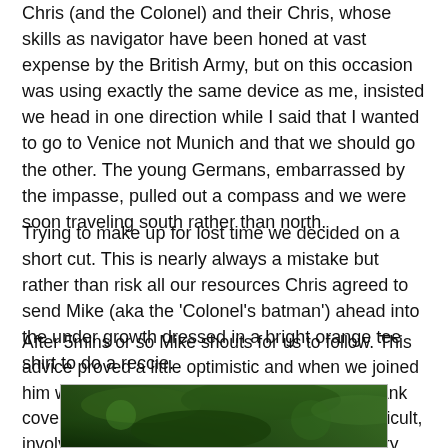Chris (and the Colonel) and their Chris, whose skills as navigator have been honed at vast expense by the British Army, but on this occasion was using exactly the same device as me, insisted we head in one direction while I said that I wanted to go to Venice not Munich and that we should go the other. The young Germans, embarrassed by the impasse, pulled out a compass and we were soon traveling south rather than north.
Trying to make up for lost time we decided on a short cut. This is nearly always a mistake but rather than risk all our resources Chris agreed to send Mike (aka the 'Colonel's batman') ahead into the under growth dressed in a bright orange tee shirt to do a reccie.
After 5mins or so Mike shouts for us to follow. This advice proved a little optimistic and when we joined him we found him struggling up a very steep bank covered in brambles. Breaking through was difficult, involved multiple lacerations and the whole party was only finally assisted to the top through the formation of a human chain and a long pole.
[Figure (photo): Partial photo of outdoor scene with green foliage/brambles, partially visible at bottom of page]